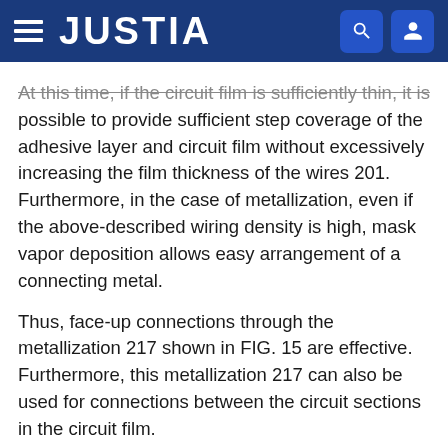JUSTIA
At this time, if the circuit film is sufficiently thin, it is possible to provide sufficient step coverage of the adhesive layer and circuit film without excessively increasing the film thickness of the wires 201. Furthermore, in the case of metallization, even if the above-described wiring density is high, mask vapor deposition allows easy arrangement of a connecting metal.
Thus, face-up connections through the metallization 217 shown in FIG. 15 are effective. Furthermore, this metallization 217 can also be used for connections between the circuit sections in the circuit film.
In the above-described examples, the display device was constructed using an in-plane type electrophoretic display or microcapsule type electrophoretic display for the display section, but the present invention is also